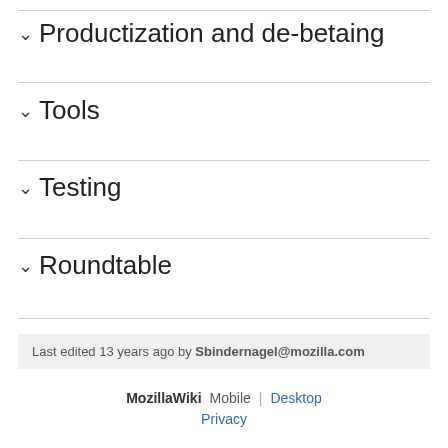Productization and de-betaing
Tools
Testing
Roundtable
Last edited 13 years ago by Sbindernagel@mozilla.com
MozillaWiki  Mobile  |  Desktop  Privacy